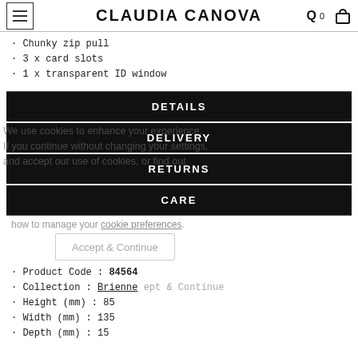CLAUDIA CANOVA
· Chunky zip pull
· 3 x card slots
· 1 x transparent ID window
DETAILS
DELIVERY
RETURNS
CARE
We use cookies to enhance your experience. If you continue without changing your settings and accept our use of cookies, or find out how to manage your cookie preferences.
· Product Code : 84564
· Collection : Brienne
· Height (mm) : 85
· Width (mm) : 135
· Depth (mm) : 15